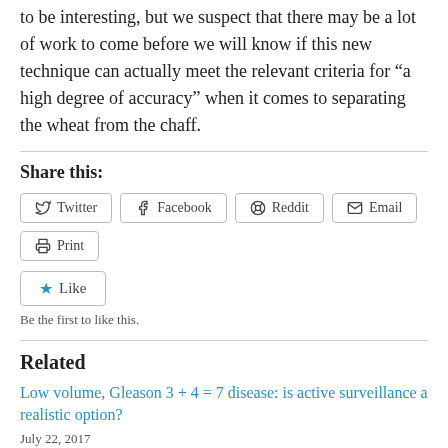to be interesting, but we suspect that there may be a lot of work to come before we will know if this new technique can actually meet the relevant criteria for “a high degree of accuracy” when it comes to separating the wheat from the chaff.
Share this:
[Figure (infographic): Social sharing buttons: Twitter, Facebook, Reddit, Email, Print]
[Figure (infographic): Like button with star icon]
Be the first to like this.
Related
Low volume, Gleason 3 + 4 = 7 disease: is active surveillance a realistic option?
July 22, 2017